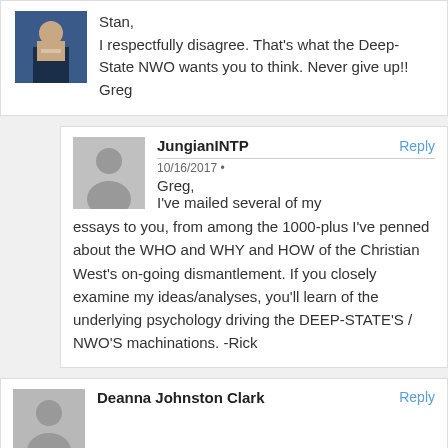Stan, I respectfully disagree. That's what the Deep-State NWO wants you to think. Never give up!! Greg
JungianINTP — 10/16/2017 • Greg, I've mailed several of my essays to you, from among the 1000-plus I've penned about the WHO and WHY and HOW of the Christian West's on-going dismantlement. If you closely examine my ideas/analyses, you'll learn of the underlying psychology driving the DEEP-STATE'S / NWO'S machinations. -Rick
Deanna Johnston Clark